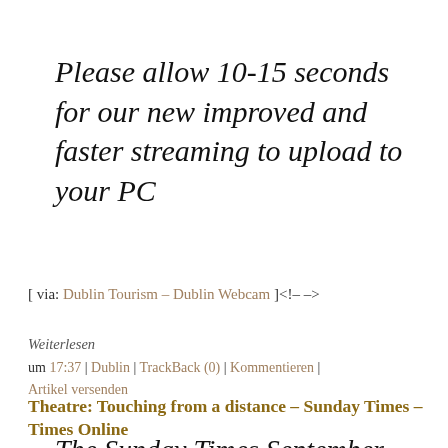Please allow 10-15 seconds for our new improved and faster streaming to upload to your PC
[ via: Dublin Tourism – Dublin Webcam ]<!– –>
Weiterlesen
um 17:37 | Dublin | TrackBack (0) | Kommentieren | Artikel versenden
Theatre: Touching from a distance – Sunday Times – Times Online
The Sunday Times September